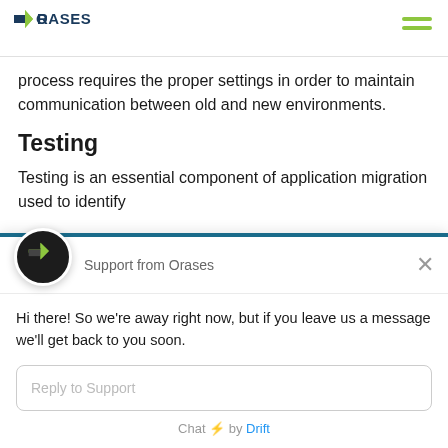[Figure (logo): Orases company logo with green and dark navy text, and a hamburger menu icon in green on the right]
process requires the proper settings in order to maintain communication between old and new environments.
Testing
Testing is an essential component of application migration used to identify
[Figure (screenshot): Drift chat widget overlay showing Support from Orases. Message: Hi there! So we're away right now, but if you leave us a message we'll get back to you soon. Input field: Reply to Support. Footer: Chat by Drift.]